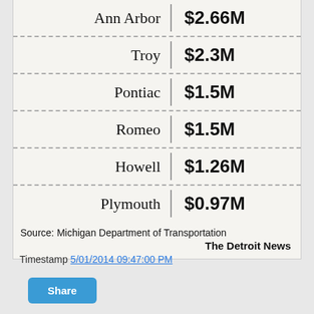| City | Amount |
| --- | --- |
| Ann Arbor | $2.66M |
| Troy | $2.3M |
| Pontiac | $1.5M |
| Romeo | $1.5M |
| Howell | $1.26M |
| Plymouth | $0.97M |
Source: Michigan Department of Transportation
The Detroit News
Timestamp 5/01/2014 09:47:00 PM
Share